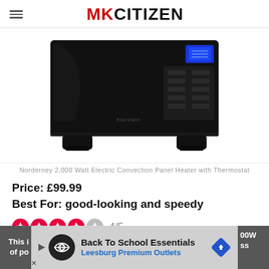MK CITIZEN
[Figure (photo): Black glass electric panel convection heater with blue LCD display and touch controls, standing on two black feet against white background.]
Norderney 2,000 Watt Electric Convection Panel Heater with Thermostat
Price: £99.99
Best For: good-looking and speedy
[Figure (infographic): Star rating: 4 out of 5 red stars, with label '4/5']
This i... 00W of po... ss
[Figure (other): Advertisement banner: Back To School Essentials - Leesburg Premium Outlets]